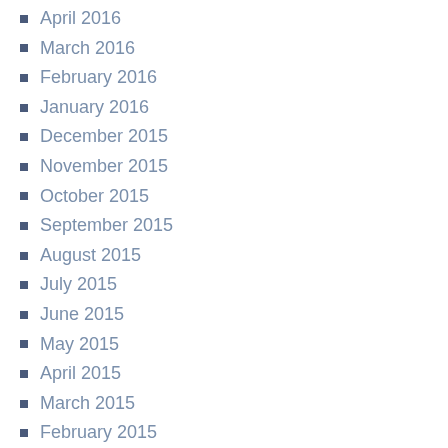April 2016
March 2016
February 2016
January 2016
December 2015
November 2015
October 2015
September 2015
August 2015
July 2015
June 2015
May 2015
April 2015
March 2015
February 2015
January 2015
December 2014